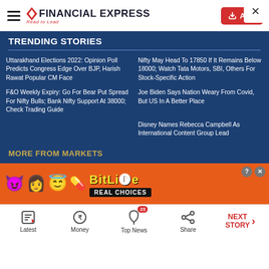FINANCIAL EXPRESS — Read to Lead
TRENDING STORIES
Uttarakhand Elections 2022: Opinion Poll Predicts Congress Edge Over BJP, Harish Rawat Popular CM Face
Nifty May Head To 17850 If It Remains Below 18000; Watch Tata Motors, SBI, Others For Stock-Specific Action
F&O Weekly Expiry: Go For Bear Put Spread For Nifty Bulls; Bank Nifty Support At 38000; Check Trading Guide
Joe Biden Says Nation Weary From Covid, But US In A Better Place
Disney Names Rebecca Campbell As International Content Group Lead
MORE FROM MARKETS
[Figure (screenshot): BitLife Real Choices mobile game advertisement banner with cartoon emoji characters on orange background]
Latest | Money | Top News (23 notifications) | Share | NEXT STORY